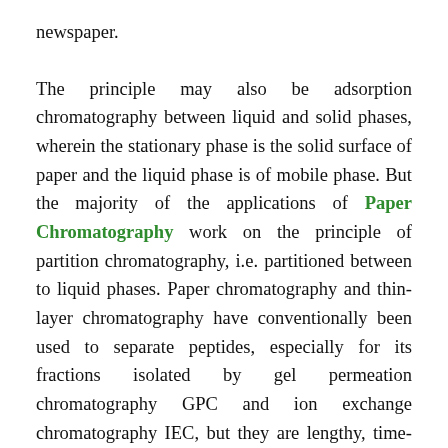newspaper.
The principle may also be adsorption chromatography between liquid and solid phases, wherein the stationary phase is the solid surface of paper and the liquid phase is of mobile phase. But the majority of the applications of Paper Chromatography work on the principle of partition chromatography, i.e. partitioned between to liquid phases. Paper chromatography and thin-layer chromatography have conventionally been used to separate peptides, especially for its fractions isolated by gel permeation chromatography GPC and ion exchange chromatography IEC, but they are lengthy, time-consuming processes with low resolving power and reduced